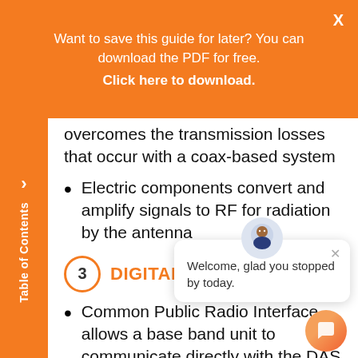Want to save this guide for later? You can download the PDF for free. Click here to download.
overcomes the transmission losses that occur with a coax-based system
Electric components convert and amplify signals to RF for radiation by the antenna
3 DIGITAL DA...
Common Public Radio Interface allows a base band unit to communicate directly with the DAS master unit through to the remote units without